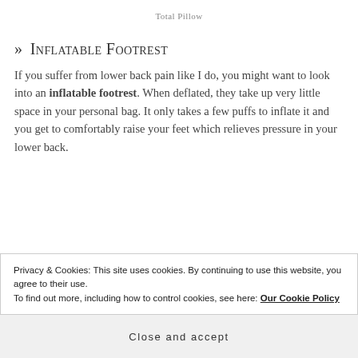Total Pillow
» Inflatable Footrest
If you suffer from lower back pain like I do, you might want to look into an inflatable footrest. When deflated, they take up very little space in your personal bag. It only takes a few puffs to inflate it and you get to comfortably raise your feet which relieves pressure in your lower back.
Privacy & Cookies: This site uses cookies. By continuing to use this website, you agree to their use.
To find out more, including how to control cookies, see here: Our Cookie Policy
Close and accept